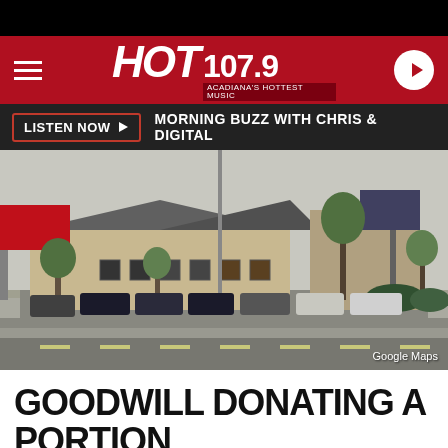[Figure (screenshot): HOT 107.9 radio station website screenshot showing navigation bar with hamburger menu, HOT 107.9 logo (Acadiana's Hottest Music), and play button]
LISTEN NOW   MORNING BUZZ WITH CHRIS & DIGITAL
[Figure (photo): Google Maps street view photo of a commercial building (likely Goodwill store) with parking lot and cars in front, trees and billboard visible]
Google Maps
GOODWILL DONATING A PORTION